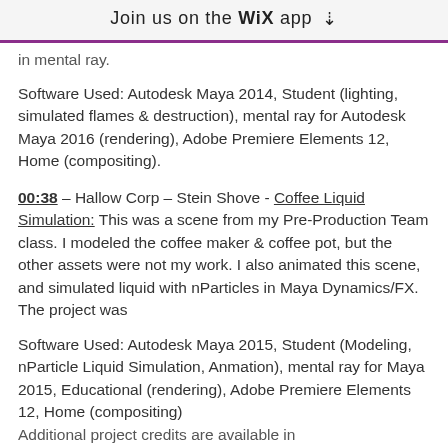Join us on the WiX app ↓
in mental ray.
Software Used: Autodesk Maya 2014, Student (lighting, simulated flames & destruction), mental ray for Autodesk Maya 2016 (rendering), Adobe Premiere Elements 12, Home (compositing).
00:38 – Hallow Corp – Stein Shove - Coffee Liquid Simulation: This was a scene from my Pre-Production Team class. I modeled the coffee maker & coffee pot, but the other assets were not my work. I also animated this scene, and simulated liquid with nParticles in Maya Dynamics/FX. The project was
Software Used: Autodesk Maya 2015, Student (Modeling, nParticle Liquid Simulation, Anmation), mental ray for Maya 2015, Educational (rendering), Adobe Premiere Elements 12, Home (compositing)
Additional project credits are available in